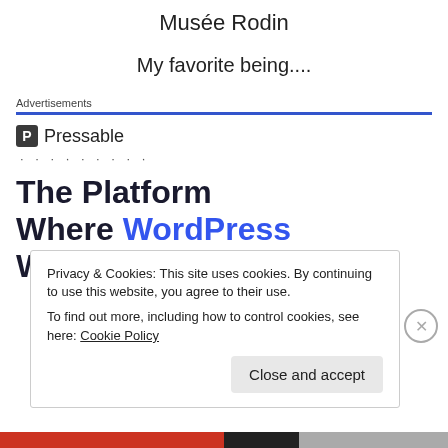Musée Rodin
My favorite being....
Advertisements
[Figure (logo): Pressable logo with icon and name, followed by dots row and ad headline: The Platform Where WordPress Works Best]
Privacy & Cookies: This site uses cookies. By continuing to use this website, you agree to their use. To find out more, including how to control cookies, see here: Cookie Policy